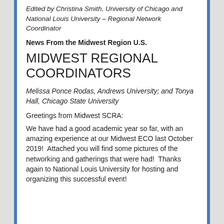Edited by Christina Smith, University of Chicago and National Louis University – Regional Network Coordinator
News From the Midwest Region U.S.
MIDWEST REGIONAL COORDINATORS
Melissa Ponce Rodas, Andrews University; and Tonya Hall, Chicago State University
Greetings from Midwest SCRA:
We have had a good academic year so far, with an amazing experience at our Midwest ECO last October 2019!  Attached you will find some pictures of the networking and gatherings that were had!  Thanks again to National Louis University for hosting and organizing this successful event!